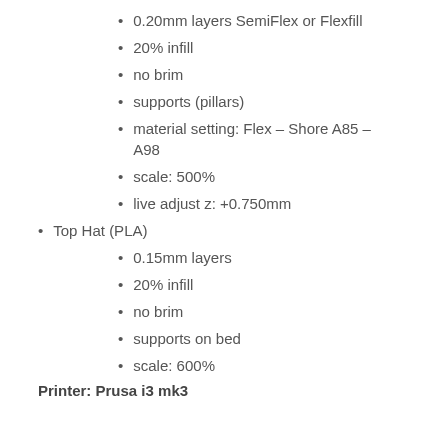0.20mm layers SemiFlex or Flexfill
20% infill
no brim
supports (pillars)
material setting: Flex – Shore A85 – A98
scale: 500%
live adjust z: +0.750mm
Top Hat (PLA)
0.15mm layers
20% infill
no brim
supports on bed
scale: 600%
Printer: Prusa i3 mk3